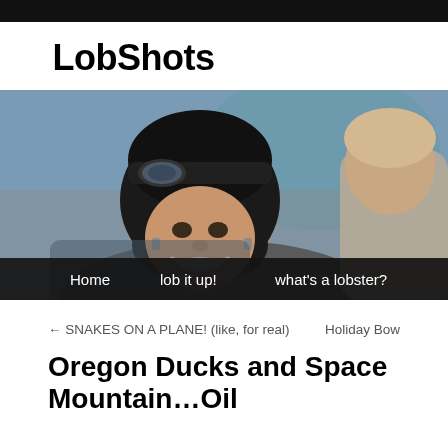LobShots
[Figure (photo): Two men smiling, one wearing a black motorcycle helmet with goggles, another partially visible on the right side. Navigation bar at bottom with links: Home, lob it up!, what's a lobster?]
← SNAKES ON A PLANE! (like, for real)
Holiday Bow
Oregon Ducks and Space Mountain…Oil